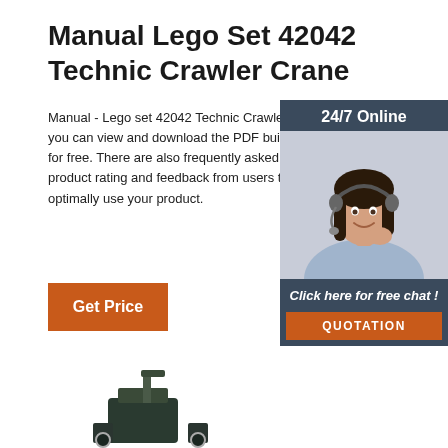Manual Lego Set 42042 Technic Crawler Crane
Manual - Lego set 42042 Technic Crawler crane? Below you can view and download the PDF building instructions for free. There are also frequently asked questions, a product rating and feedback from users to enable you to optimally use your product.
[Figure (other): Orange 'Get Price' button]
[Figure (other): 24/7 Online chat widget with woman wearing headset, 'Click here for free chat!' text and orange QUOTATION button]
[Figure (other): Partial image of Lego Technic Crawler Crane set at bottom of page]